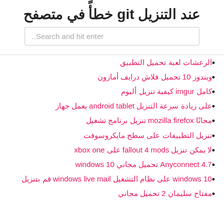خطأً في متصفح git عند التنزيل
الرعشات لعبة تحميل التطبيق
ويندوز 10 تحميل فلاش درايف أمازون
كامل imgur كيفية تنزيل ألبوم
على زيادة سرعة التنزيل android tablet يعمل جهاز
مجانًا mozilla firefox تنزيل برنامج تشغيل
تنزيل التطبيقات على سطح مايكروسوفت
لا يمكن تنزيل fallout 4 mods على xbox one
Anyconnect 4.7 تحميل مجاني windows 10
windows 10 على نظام التشغيل windows live mail قم بتنزيل
مفتاح سليمان 2 تحميل مجاني